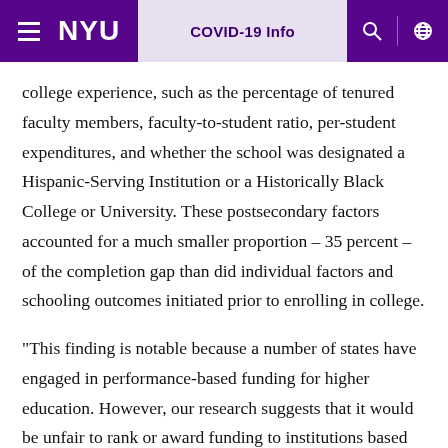NYU | COVID-19 Info
college experience, such as the percentage of tenured faculty members, faculty-to-student ratio, per-student expenditures, and whether the school was designated a Hispanic-Serving Institution or a Historically Black College or University. These postsecondary factors accounted for a much smaller proportion – 35 percent – of the completion gap than did individual factors and schooling outcomes initiated prior to enrolling in college.
“This finding is notable because a number of states have engaged in performance-based funding for higher education. However, our research suggests that it would be unfair to rank or award funding to institutions based on factors over which they have lower levels of control,” Flores said. “Accountability is very important, but knowing the sources